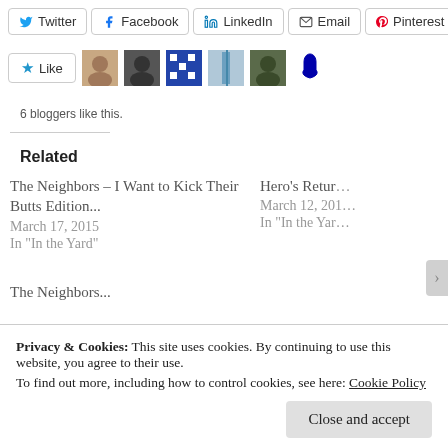Twitter
Facebook
LinkedIn
Email
Pinterest
6 bloggers like this.
Related
The Neighbors – I Want to Kick Their Butts Edition...
March 17, 2015
In "In the Yard"
Hero's Retur...
March 12, 201...
In "In the Yar..."
The Neighbors...
Privacy & Cookies: This site uses cookies. By continuing to use this website, you agree to their use.
To find out more, including how to control cookies, see here: Cookie Policy
Close and accept